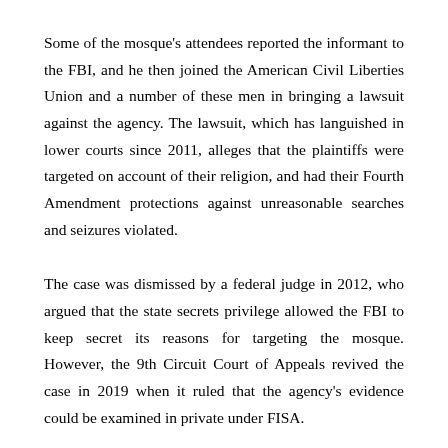Some of the mosque's attendees reported the informant to the FBI, and he then joined the American Civil Liberties Union and a number of these men in bringing a lawsuit against the agency. The lawsuit, which has languished in lower courts since 2011, alleges that the plaintiffs were targeted on account of their religion, and had their Fourth Amendment protections against unreasonable searches and seizures violated.
The case was dismissed by a federal judge in 2012, who argued that the state secrets privilege allowed the FBI to keep secret its reasons for targeting the mosque. However, the 9th Circuit Court of Appeals revived the case in 2019 when it ruled that the agency's evidence could be examined in private under FISA.
Friday's ruling does not explicitly block the case from